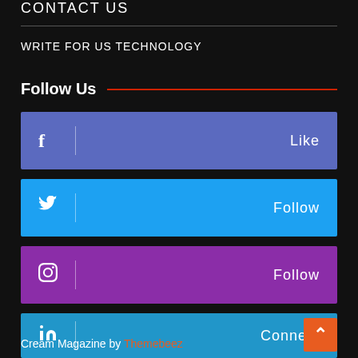CONTACT US
WRITE FOR US TECHNOLOGY
Follow Us
f | Like
Twitter | Follow
Instagram | Follow
in | Connect
Cream Magazine by Themebeez